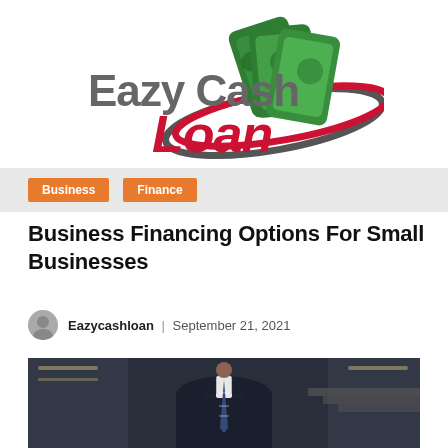[Figure (logo): Eazy Cash Loan logo with green dollar bill cards and red/gray swoosh graphic]
Business | Finance
Business Financing Options For Small Businesses
Eazycashloan | September 21, 2021
[Figure (photo): Man in dark business suit and striped tie standing in front of glass building interior]